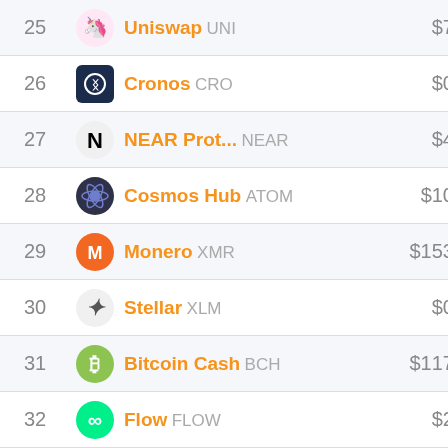| # | Name | Price |
| --- | --- | --- |
| 25 | Uniswap UNI | $7 |
| 26 | Cronos CRO | $0 |
| 27 | NEAR Prot... NEAR | $4 |
| 28 | Cosmos Hub ATOM | $10 |
| 29 | Monero XMR | $153 |
| 30 | Stellar XLM | $0 |
| 31 | Bitcoin Cash BCH | $117 |
| 32 | Flow FLOW | $2 |